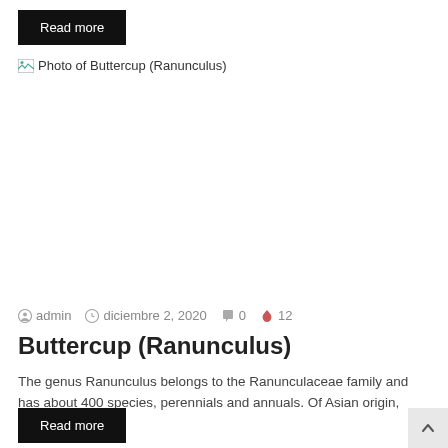Read more
[Figure (photo): Broken image placeholder with alt text: Photo of Buttercup (Ranunculus)]
admin · diciembre 2, 2020 · 0 comments · 12 views
Buttercup (Ranunculus)
The genus Ranunculus belongs to the Ranunculaceae family and has about 400 species, perennials and annuals. Of Asian origin, they…
Read more